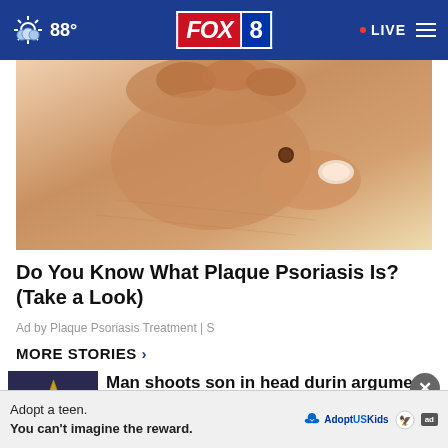88° FOX 8 LIVE
[Figure (photo): Close-up photo of a hand touching skin with a mole/skin lesion, illustrating plaque psoriasis]
Do You Know What Plaque Psoriasis Is? (Take a Look)
Ad by Plaque Psoriasis Treatment | S
MORE STORIES ›
Man shoots son in head during argument: Police
Adopt a teen. You can't imagine the reward.